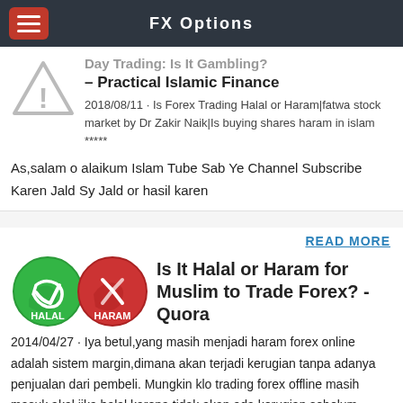FX Options
– Practical Islamic Finance
2018/08/11 · Is Forex Trading Halal or Haram|fatwa stock market by Dr Zakir Naik|Is buying shares haram in islam *****
As,salam o alaikum Islam Tube Sab Ye Channel Subscribe Karen Jald Sy Jald or hasil karen
READ MORE
Is It Halal or Haram for Muslim to Trade Forex? - Quora
2014/04/27 · Iya betul,yang masih menjadi haram forex online adalah sistem margin,dimana akan terjadi kerugian tanpa adanya penjualan dari pembeli. Mungkin klo trading forex offline masih masuk akal jika halal,karena tidak akan ada kerugian sebelum menjualnya,meskipun